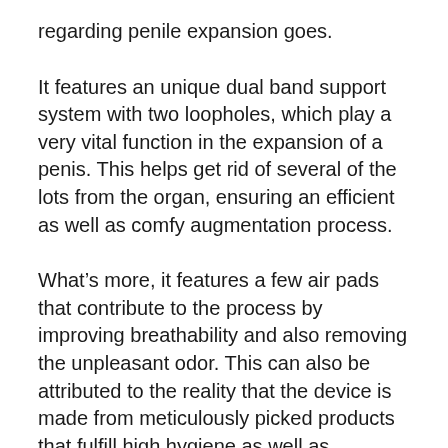regarding penile expansion goes.
It features an unique dual band support system with two loopholes, which play a very vital function in the expansion of a penis. This helps get rid of several of the lots from the organ, ensuring an efficient as well as comfy augmentation process.
What’s more, it features a few air pads that contribute to the process by improving breathability and also removing the unpleasant odor. This can also be attributed to the reality that the device is made from meticulously picked products that fulfill high hygiene as well as convenience requirements. This differs from cheap, low quality extenders that are understood to